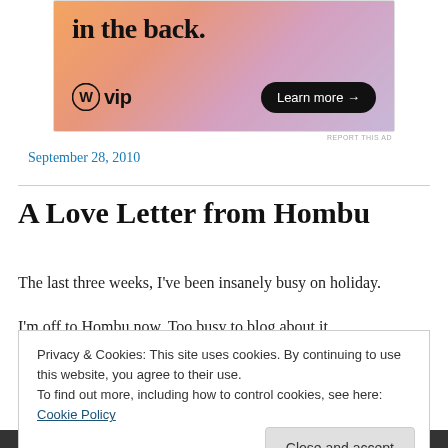[Figure (illustration): WordPress VIP advertisement banner with gradient orange/pink/purple background, showing 'in the back.' text, WordPress VIP logo, and 'Learn more →' button]
REPORT THIS AD
September 28, 2010
A Love Letter from Hombu
The last three weeks, I've been insanely busy on holiday.
I'm off to Hombu now. Too busy to blog about it.
Privacy & Cookies: This site uses cookies. By continuing to use this website, you agree to their use.
To find out more, including how to control cookies, see here: Cookie Policy
Close and accept